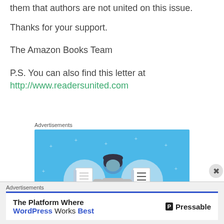them that authors are not united on this issue.
Thanks for your support.
The Amazon Books Team
P.S. You can also find this letter at http://www.readersunited.com
[Figure (illustration): Day One app advertisement with blue background, showing a person holding a phone with notebook icons, text DAY ONE at bottom]
[Figure (illustration): Pressable advertisement: The Platform Where WordPress Works Best with Pressable logo]